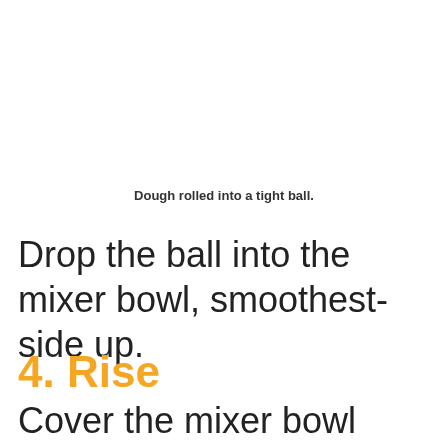Dough rolled into a tight ball.
Drop the ball into the mixer bowl, smoothest-side up.
4. Rise
Cover the mixer bowl tightly with plastic wrap. Let rest 2 hours